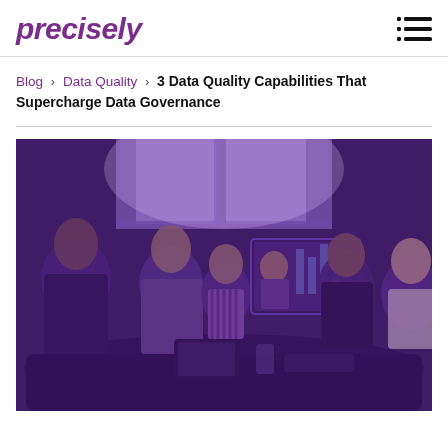precisely
Blog > Data Quality > 3 Data Quality Capabilities That Supercharge Data Governance
[Figure (photo): Business meeting photo with purple overlay tint, showing five professionals seated around a conference table. A woman is visible on a video call screen in the background, with a chart/graph display visible. Purple/violet color overlay covers the entire image.]